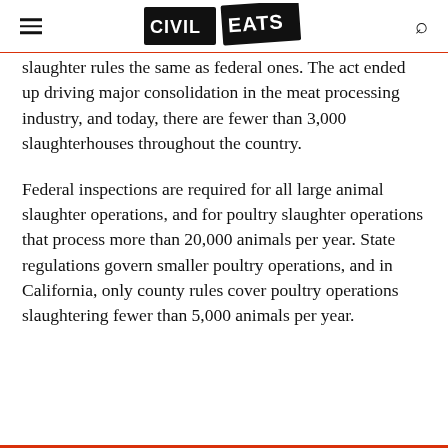Civil Eats
slaughter rules the same as federal ones. The act ended up driving major consolidation in the meat processing industry, and today, there are fewer than 3,000 slaughterhouses throughout the country.
Federal inspections are required for all large animal slaughter operations, and for poultry slaughter operations that process more than 20,000 animals per year. State regulations govern smaller poultry operations, and in California, only county rules cover poultry operations slaughtering fewer than 5,000 animals per year.